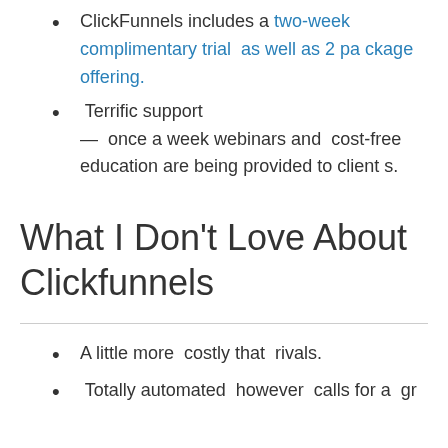ClickFunnels includes a two-week complimentary trial as well as 2 package offering.
Terrific support — once a week webinars and cost-free education are being provided to clients.
What I Don't Love About Clickfunnels
A little more costly that rivals.
Totally automated however calls for a gr